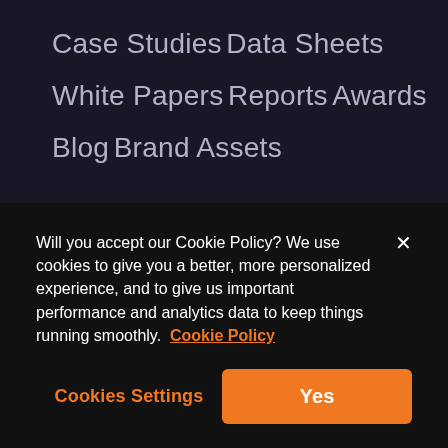Case Studies
Data Sheets
White Papers
Reports
Awards
Blog
Brand Assets
Will you accept our Cookie Policy? We use cookies to give you a better, more personalized experience, and to give us important performance and analytics data to keep things running smoothly. Cookie Policy
Cookies Settings  Yes